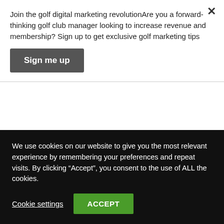Join the golf digital marketing revolutionAre you a forward-thinking golf club manager looking to increase revenue and membership? Sign up to get exclusive golf marketing tips
Sign me up
customers than seeing out of date posts on your social media. Research has shown that it requires at least 3 posts per week in order to keep your audience engaged.
Facebook and social media tools such as Hootsuite allow you
We use cookies on our website to give you the most relevant experience by remembering your preferences and repeat visits. By clicking “Accept”, you consent to the use of ALL the cookies.
Cookie settings
ACCEPT